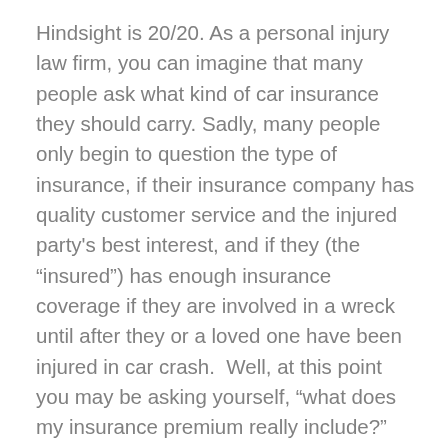Hindsight is 20/20. As a personal injury law firm, you can imagine that many people ask what kind of car insurance they should carry. Sadly, many people only begin to question the type of insurance, if their insurance company has quality customer service and the injured party's best interest, and if they (the “insured”) has enough insurance coverage if they are involved in a wreck until after they or a loved one have been injured in car crash.  Well, at this point you may be asking yourself, “what does my insurance premium really include?” You may be thinking that you have “full coverage” and so you are completely covered for all of your losses and that you can get back to work and on the road without any hassle. Many times, that is not the case. Many times, injured people have to fight to get the at-fault driver’s insurance to pay the damages. Even more